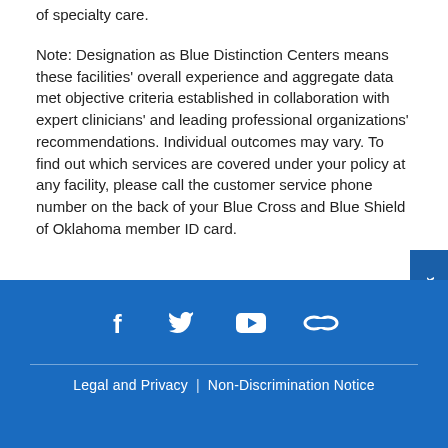of specialty care.
Note: Designation as Blue Distinction Centers means these facilities' overall experience and aggregate data met objective criteria established in collaboration with expert clinicians' and leading professional organizations' recommendations. Individual outcomes may vary. To find out which services are covered under your policy at any facility, please call the customer service phone number on the back of your Blue Cross and Blue Shield of Oklahoma member ID card.
[Figure (infographic): Social media icons: Facebook (f), Twitter (bird), YouTube (play button), and a link/chain icon, displayed in white on blue background]
Legal and Privacy | Non-Discrimination Notice